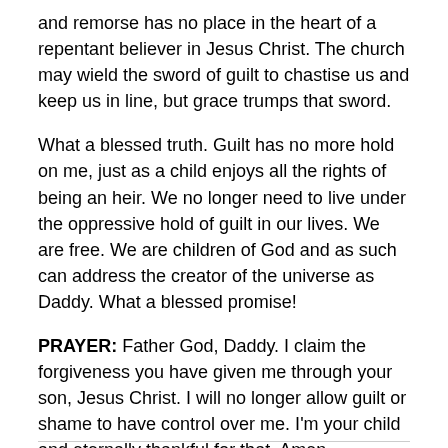and remorse has no place in the heart of a repentant believer in Jesus Christ. The church may wield the sword of guilt to chastise us and keep us in line, but grace trumps that sword.
What a blessed truth. Guilt has no more hold on me, just as a child enjoys all the rights of being an heir. We no longer need to live under the oppressive hold of guilt in our lives. We are free. We are children of God and as such can address the creator of the universe as Daddy. What a blessed promise!
PRAYER: Father God, Daddy. I claim the forgiveness you have given me through your son, Jesus Christ. I will no longer allow guilt or shame to have control over me. I'm your child and eternally thankful for that. Amen.